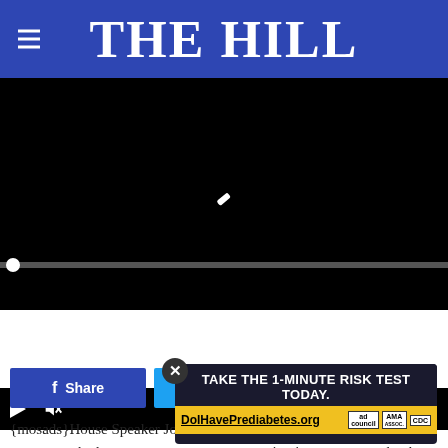THE HILL
[Figure (screenshot): Embedded video player showing a black screen with a pencil/loading icon in the center, progress bar at bottom, and playback controls including play button, mute button, timecode 00:00, and fullscreen button]
Share  Tweet  More
{mosads}House Speaker John Boehner (R-Ohio) made comments defending the law of the land comment, saying in a statement that he still supports